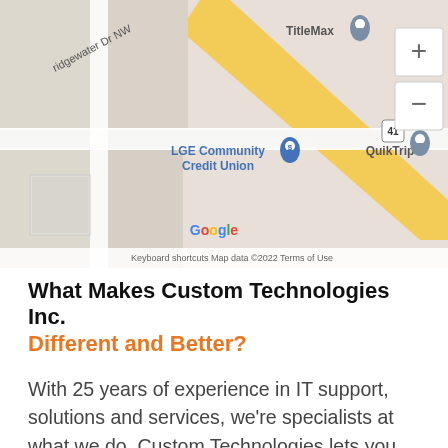[Figure (map): Google Maps screenshot showing area with TitleMax, LGE Community Credit Union, QuikTrip near Bridgewater Dr NW, with zoom controls and map attribution showing 'Keyboard shortcuts | Map data ©2022 | Terms of Use']
What Makes Custom Technologies Inc. Different and Better?
With 25 years of experience in IT support, solutions and services, we're specialists at what we do. Custom Technologies lets you forget about your IT worries and focus on your business. We will work with you to develop a solution that is right for your business. Whether you need a single service or a fully integrated solution, you